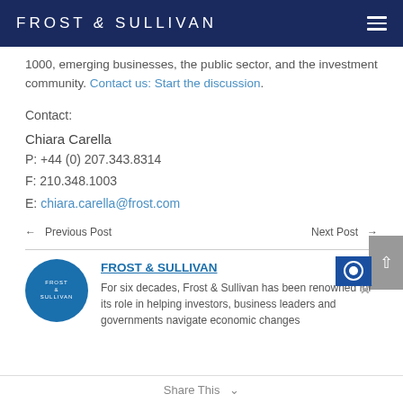FROST & SULLIVAN
1000, emerging businesses, the public sector, and the investment community. Contact us: Start the discussion.
Contact:
Chiara Carella
P: +44 (0) 207.343.8314
F: 210.348.1003
E: chiara.carella@frost.com
← Previous Post    Next Post →
FROST & SULLIVAN
For six decades, Frost & Sullivan has been renowned for its role in helping investors, business leaders and governments navigate economic changes.